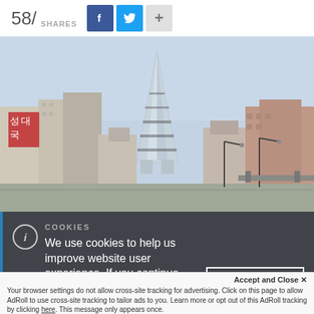58/ SHARES
[Figure (photo): Photograph of the Ryugyong Hotel pyramid skyscraper in Pyongyang, North Korea, surrounded by city buildings against a hazy sky]
COOKIES
We use cookies to help us improve website user experience. If you continue, we'll assume that you are happy for us to use cookies for this purpose.
I accept
Accept and Close ×
Your browser settings do not allow cross-site tracking for advertising. Click on this page to allow AdRoll to use cross-site tracking to tailor ads to you. Learn more or opt out of this AdRoll tracking by clicking here. This message only appears once.